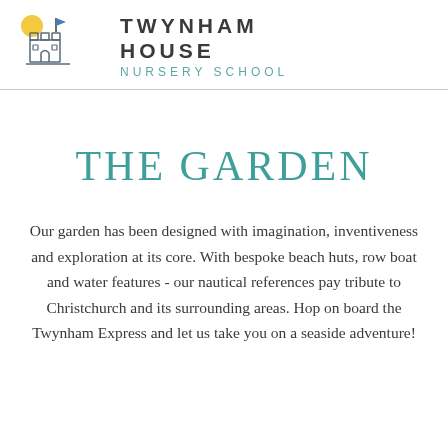[Figure (logo): Twynham House Nursery School logo: sandcastle illustration with sun and flag, alongside school name text]
THE GARDEN
Our garden has been designed with imagination, inventiveness and exploration at its core. With bespoke beach huts, row boat and water features - our nautical references pay tribute to Christchurch and its surrounding areas. Hop on board the Twynham Express and let us take you on a seaside adventure!